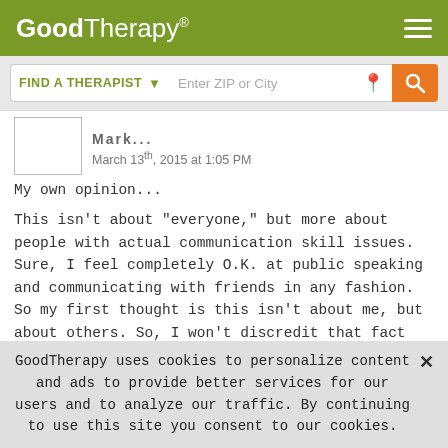GoodTherapy®
FIND A THERAPIST  ▾   Enter ZIP or City
Mark
March 13th, 2015 at 1:05 PM
My own opinion...

This isn't about "everyone," but more about people with actual communication skill issues. Sure, I feel completely O.K. at public speaking and communicating with friends in any fashion. So my first thought is this isn't about me, but about others. So, I won't discredit that fact that texting is a crutch that people cling. Primary problem I could see is before the person(s) grasp a firm understanding of verbal communication, they instead choose
GoodTherapy uses cookies to personalize content and ads to provide better services for our users and to analyze our traffic. By continuing to use this site you consent to our cookies.